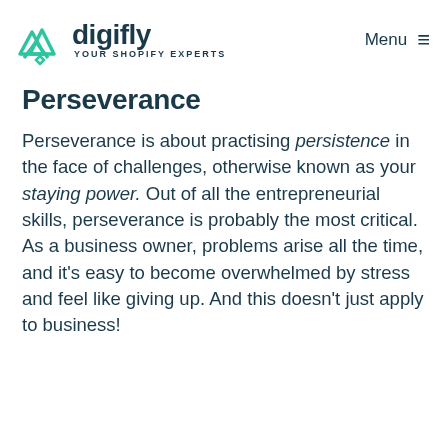digifly YOUR SHOPIFY EXPERTS — Menu
Perseverance
Perseverance is about practising persistence in the face of challenges, otherwise known as your staying power. Out of all the entrepreneurial skills, perseverance is probably the most critical. As a business owner, problems arise all the time, and it's easy to become overwhelmed by stress and feel like giving up. And this doesn't just apply to business!